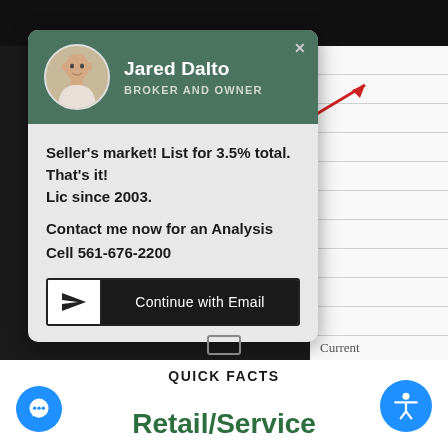[Figure (screenshot): Screenshot of a real estate agent contact modal popup. Green header with avatar photo of Jared Dalto labeled 'BROKER AND OWNER'. Modal body contains bold text: Seller's market! List for 3.5% total. That's it! Lic since 2003. Contact me now for an Analysis. Cell 561-676-2200. Below is a 'Continue with Email' button with send icon. Behind the modal is a webpage with horizontal lines and 'Current' label. Bottom of page shows 'QUICK FACTS' and 'Retail/Service' text with blue chat and accessibility icons.]
Jared Dalto
BROKER AND OWNER
Seller's market! List for 3.5% total. That's it! Lic since 2003.
Contact me now for an Analysis
Cell 561-676-2200
Continue with Email
Current
QUICK FACTS
Retail/Service